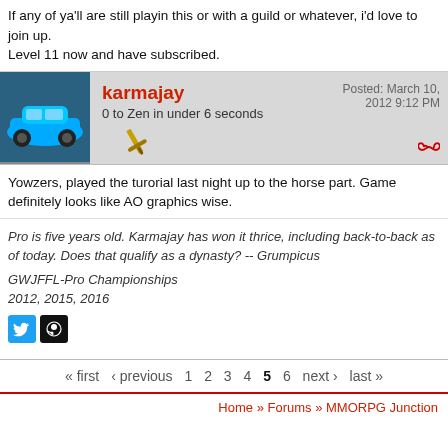If any of ya'll are still playin this or with a guild or whatever, i'd love to join up. Level 11 now and have subscribed.
karmajay | 0 to Zen in under 6 seconds | Posted: March 10, 2012 9:12 PM
Yowzers, played the turorial last night up to the horse part. Game definitely looks like AO graphics wise.
Pro is five years old. Karmajay has won it thrice, including back-to-back as of today. Does that qualify as a dynasty? -- Grumpicus
GWJFFL-Pro Championships
2012, 2015, 2016
« first ‹ previous 1 2 3 4 5 6 next › last »
Home » Forums » MMORPG Junction